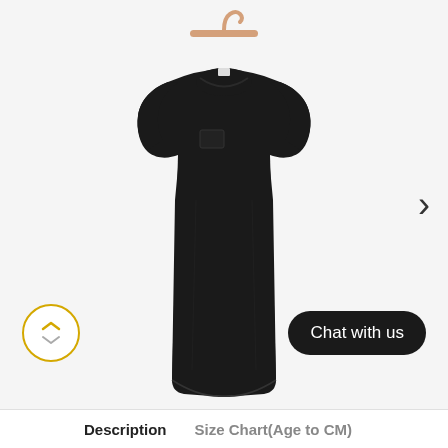[Figure (photo): A black sleeveless t-shirt dress hanging on a wooden hanger against a white background. The dress has a round neckline, no sleeves, and a small chest pocket on the left side.]
Chat with us
Description
Size Chart(Age to CM)